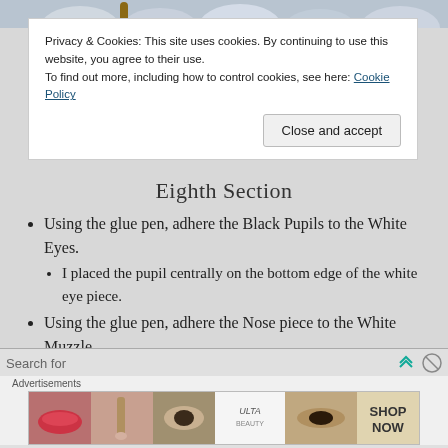[Figure (photo): Top portion of a craft/tutorial webpage showing decorative shapes at the top]
Privacy & Cookies: This site uses cookies. By continuing to use this website, you agree to their use. To find out more, including how to control cookies, see here: Cookie Policy
Eighth Section
Using the glue pen, adhere the Black Pupils to the White Eyes.
I placed the pupil centrally on the bottom edge of the white eye piece.
Using the glue pen, adhere the Nose piece to the White Muzzle.
Align the nose on the top edge of the muzzle
Search for
Advertisements
[Figure (photo): Ulta Beauty advertisement strip showing makeup/beauty images and SHOP NOW button]